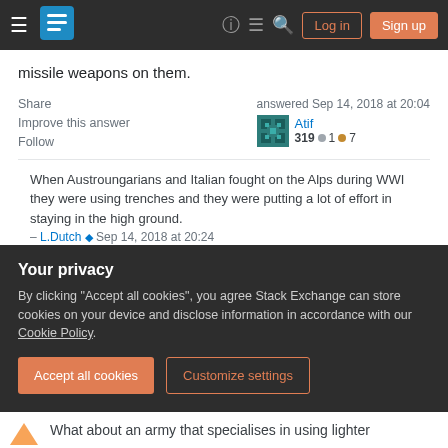Stack Exchange navigation bar with hamburger menu, logo, help, chat, search, Log in, Sign up
missile weapons on them.
Share   Improve this answer   Follow
answered Sep 14, 2018 at 20:04  Atif  319  ● 1  ● 7
When Austroungarians and Italian fought on the Alps during WWI they were using trenches and they were putting a lot of effort in staying in the high ground.
– L.Dutch ♦ Sep 14, 2018 at 20:24
@L.Dutch Troops in WWI werent for the most part trying to lure their enemy to attack them, instead they
Your privacy
By clicking "Accept all cookies", you agree Stack Exchange can store cookies on your device and disclose information in accordance with our Cookie Policy.
Accept all cookies   Customize settings
What about an army that specialises in using lighter